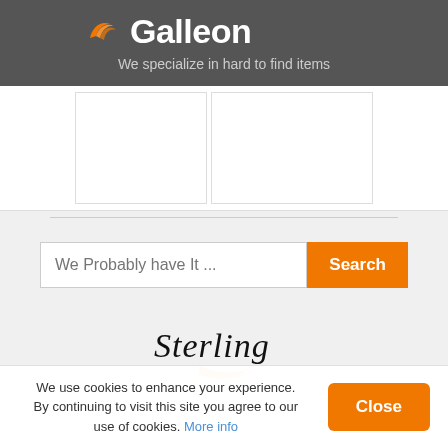[Figure (logo): Galleon logo with orange flame/bird icon and white 'Galleon' text on dark grey background]
We specialize in hard to find items
[Figure (photo): Two empty white product image placeholder boxes with grey borders]
[Figure (illustration): Search bar with placeholder text 'We Probably have It ...' and orange 'Search' button]
[Figure (logo): Sterling brand logo in cursive script with orange swoosh element]
We use cookies to enhance your experience. By continuing to visit this site you agree to our use of cookies. More info